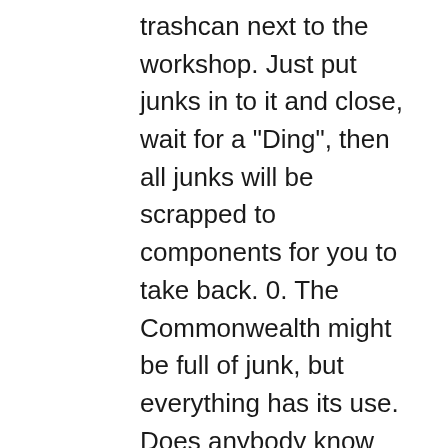trashcan next to the workshop. Just put junks in to it and close, wait for a "Ding", then all junks will be scrapped to components for you to take back. 0. The Commonwealth might be full of junk, but everything has its use. Does anybody know what this mod was called? The bench itself weighs 4 and each module weighs 4 as well, but if you have Scrapper then the weight pays for itself. Holotape option to enable survival filling all drinking bottles at once from Clean or Dirty source. Components are tranfered directly to